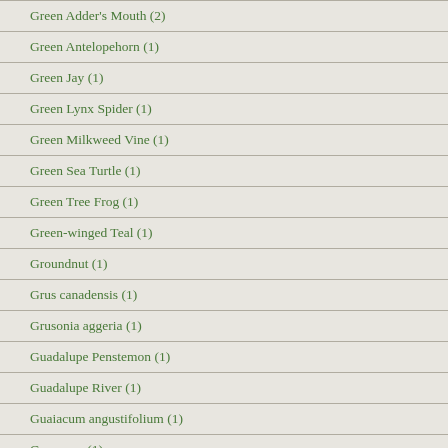Green Adder's Mouth (2)
Green Antelopehorn (1)
Green Jay (1)
Green Lynx Spider (1)
Green Milkweed Vine (1)
Green Sea Turtle (1)
Green Tree Frog (1)
Green-winged Teal (1)
Groundnut (1)
Grus canadensis (1)
Grusonia aggeria (1)
Guadalupe Penstemon (1)
Guadalupe River (1)
Guaiacum angustifolium (1)
Guayacan (1)